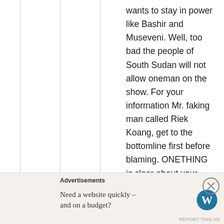wants to stay in power like Bashir and Museveni. Well, too bad the people of South Sudan will not allow oneman on the show. For your information Mr. faking man called Riek Koang, get to the bottomline first before blaming. ONETHING is clear about your identity Mr.Dong, you mignt be a Dinka or Nuer Wew that is all I know…for sure.
Advertisements
Need a website quickly – and on a budget?